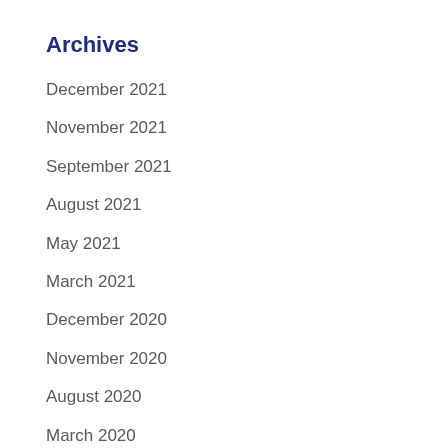Archives
December 2021
November 2021
September 2021
August 2021
May 2021
March 2021
December 2020
November 2020
August 2020
March 2020
January 2020
December 2019
November 2019